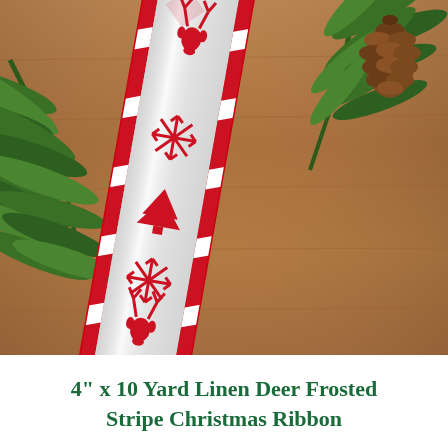[Figure (photo): A red and white striped Christmas ribbon with glittery silver center panel featuring red reindeer heads, snowflakes, and Christmas tree motifs, laid diagonally on a wooden surface with pine branches and a pinecone in the background.]
4" x 10 Yard Linen Deer Frosted Stripe Christmas Ribbon